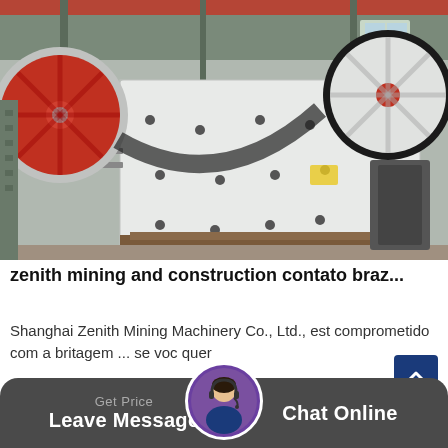[Figure (photo): Industrial factory floor with large white jaw crusher mining machinery on wooden pallets. Red and white flywheels visible. Factory interior with steel structure and red crane beam overhead.]
zenith mining and construction contato braz...
Shanghai Zenith Mining Machinery Co., Ltd., est comprometido com a britagem ... se voc quer
Get Price | Leave Message | Chat Online